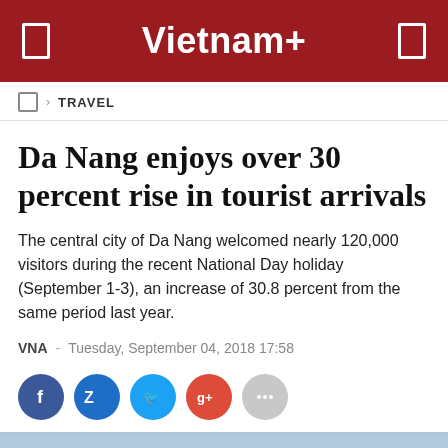Vietnam+
TRAVEL
Da Nang enjoys over 30 percent rise in tourist arrivals
The central city of Da Nang welcomed nearly 120,000 visitors during the recent National Day holiday (September 1-3), an increase of 30.8 percent from the same period last year.
VNA  -  Tuesday, September 04, 2018 17:58
[Figure (infographic): Social sharing buttons: Facebook (blue), Zalo (blue), Twitter (light blue), Google+ (red), and a gray more/share button]
[Figure (photo): Partial skyline/cityscape photograph of Da Nang showing buildings and waterfront in hazy light blue tones]